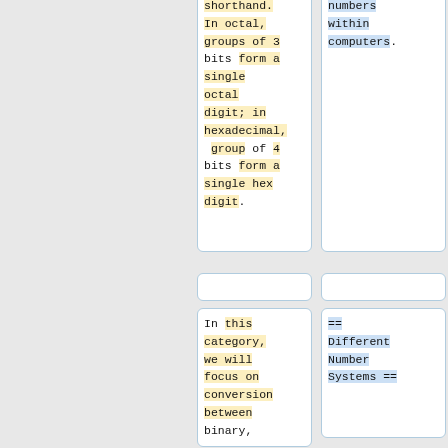shorthand. In octal, groups of 3 bits form a single octal digit; in hexadecimal, group of 4 bits form a single hex digit.
numbers within computers.
In this category, we will focus on conversion between binary,
== Different Number Systems ==